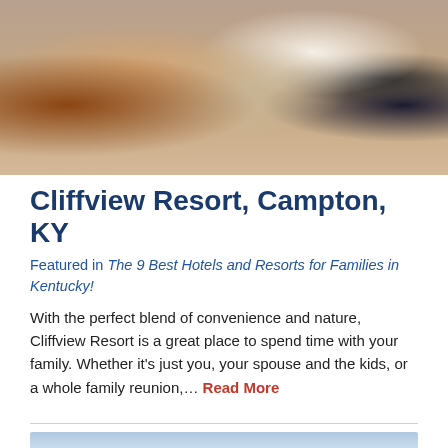[Figure (photo): Family at a hotel check-in desk: a child ringing a bell, adults signing documents, a screen visible in the background]
Cliffview Resort, Campton, KY
Featured in The 9 Best Hotels and Resorts for Families in Kentucky!
With the perfect blend of convenience and nature, Cliffview Resort is a great place to spend time with your family. Whether it’s just you, your spouse and the kids, or a whole family reunion,… Read More
[Figure (photo): Crowd of children and adults viewed from behind, colorful clothing, likely at an event or gathering]